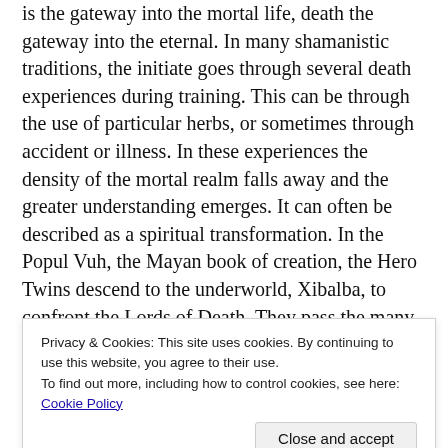is the gateway into the mortal life, death the gateway into the eternal. In many shamanistic traditions, the initiate goes through several death experiences during training. This can be through the use of particular herbs, or sometimes through accident or illness. In these experiences the density of the mortal realm falls away and the greater understanding emerges. It can often be described as a spiritual transformation. In the Popul Vuh, the Mayan book of creation, the Hero Twins descend to the underworld, Xibalba, to confront the Lords of Death. They pass the many challenges set for them, but eventually end up being tricked by the Lord of Death. Instead of giving in, the Hero Twins choose to sacrifice themselves. They give instructions to a pair of seers to convince the Lords of Death to grind the Twins' bones to dust
Privacy & Cookies: This site uses cookies. By continuing to use this website, you agree to their use.
To find out more, including how to control cookies, see here: Cookie Policy
Close and accept
through death (Kame) to the higher self (IX). This is the